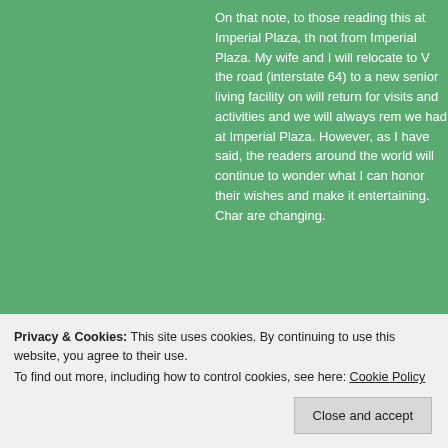On that note, to those reading this at Imperial Plaza, th... not from Imperial Plaza. My wife and I will relocate to V... the road (interstate 64) to a new senior living facility on... will return for visits and activities and we will always rem... we had at Imperial Plaza. However, as I have said, the... readers around the world will continue to wonder what... I can honor their wishes and make it entertaining. Char... are changing.
[Figure (photo): A shirtless man wearing face paint and a necklace, holding a wooden staff or pole, standing outdoors near trees with a cloth/net structure visible in the background. Outdoor historical or cultural reenactment scene.]
Privacy & Cookies: This site uses cookies. By continuing to use this website, you agree to their use.
To find out more, including how to control cookies, see here: Cookie Policy
Close and accept